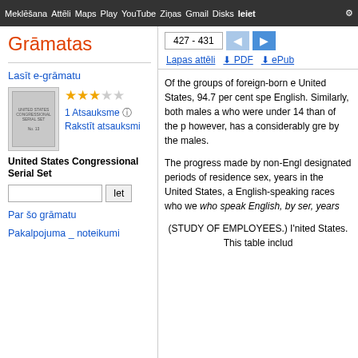Meklēšana  Attēli  Maps  Play  YouTube  Ziņas  Gmail  Disks  Ieiet  ⚙
Grāmatas
427 - 431
Lapas attēli  PDF  ePub
Lasīt e-grāmatu
1 Atsauksme
Rakstīt atsauksmi
United States Congressional Serial Set
Par šo grāmatu
Pakalpojuma _ noteikumi
Of the groups of foreign-born e United States, 94.7 per cent spe English. Similarly, both males a who were under 14 than of the p however, has a considerably gre by the males.
The progress made by non-Engl designated periods of residence sex, years in the United States, a English-speaking races who we who speak English, by ser, years
(STUDY OF EMPLOYEES.) I'nited States. This table includ